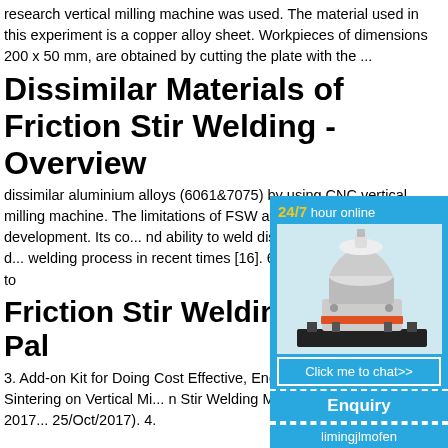research vertical milling machine was used. The material used in this experiment is a copper alloy sheet. Workpieces of dimensions 200 x 50 mm, are obtained by cutting the plate with the ...
Dissimilar Materials of Friction Stir Welding - Overview
dissimilar aluminium alloys (6061&7075) by using CNC vertical milling machine. The limitations of FSW are intensive research and development. Its co... nd ability to weld dissimilar metals makes it a d... welding process in recent times [16]. 6. Fric... of Aluminium Alloy to
Friction Stir Welding La... l K Pal
3. Add-on Kit for Doing Cost Effective, Ener... l, Solid-State Friction Sintering on Vertical Mi... n Stir Welding Machines (Filed Ref No: 2017... 25/Oct/2017). 4.
[Figure (other): Advertisement widget showing '24/7 hour online' text in yellow/white on blue background, with an image of an industrial milling/crushing machine, a 'Click me to chat>>' button, an 'Enquiry' button, and 'limingjlmofen' text at the bottom.]